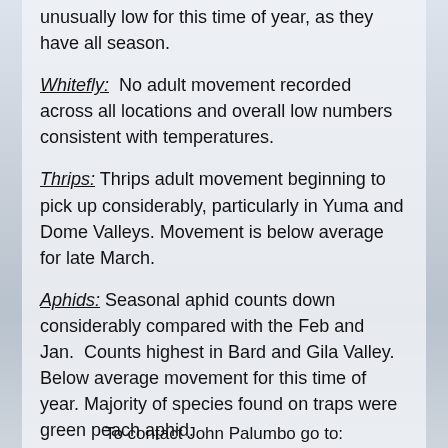unusually low for this time of year, as they have all season.
Whitefly: No adult movement recorded across all locations and overall low numbers consistent with temperatures.
Thrips: Thrips adult movement beginning to pick up considerably, particularly in Yuma and Dome Valleys. Movement is below average for late March.
Aphids: Seasonal aphid counts down considerably compared with the Feb and Jan. Counts highest in Bard and Gila Valley. Below average movement for this time of year. Majority of species found on traps were green peach aphid.
Leafminers: Adult activity up slightly in some locations, but well below average for late season.
To contact John Palumbo go to: